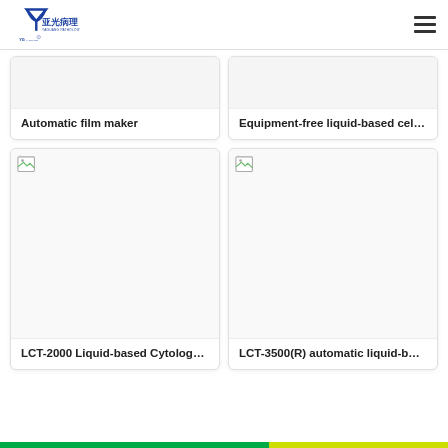YAGUANG Pathology
Automatic film maker
Equipment-free liquid-based cell…
[Figure (photo): Product image placeholder for LCT-2000 Liquid-based Cytology processor (broken image icon shown)]
LCT-2000 Liquid-based Cytolog…
[Figure (photo): Product image placeholder for LCT-3500(R) automatic liquid-based processor (broken image icon shown)]
LCT-3500(R) automatic liquid-b…